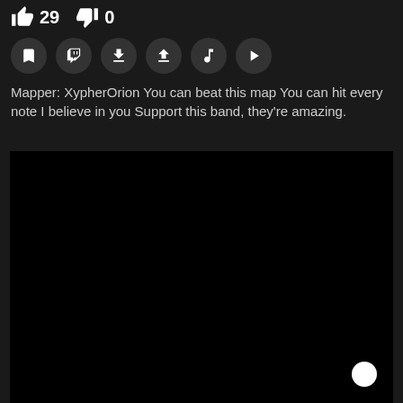👍 29  👎 0
[Figure (other): Row of circular icon buttons: bookmark, Twitch, download arrow down, download arrow up, music note, play button]
Mapper: XypherOrion You can beat this map You can hit every note I believe in you Support this band, they're amazing.
[Figure (other): Black video player area with a white circular button in the bottom right corner]